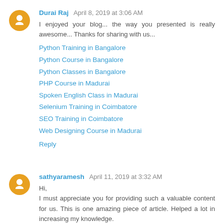Durai Raj April 8, 2019 at 3:06 AM
I enjoyed your blog... the way you presented is really awesome... Thanks for sharing with us...
Python Training in Bangalore
Python Course in Bangalore
Python Classes in Bangalore
PHP Course in Madurai
Spoken English Class in Madurai
Selenium Training in Coimbatore
SEO Training in Coimbatore
Web Designing Course in Madurai
Reply
sathyaramesh April 11, 2019 at 3:32 AM
Hi,
I must appreciate you for providing such a valuable content for us. This is one amazing piece of article. Helped a lot in increasing my knowledge.